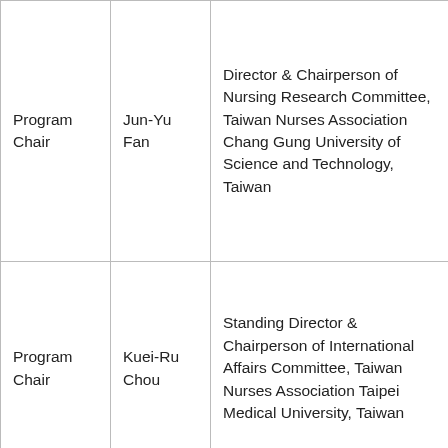| Role | Name | Affiliation |
| --- | --- | --- |
| Program Chair | Jun-Yu Fan | Director & Chairperson of Nursing Research Committee, Taiwan Nurses Association
Chang Gung University of Science and Technology, Taiwan |
| Program Chair | Kuei-Ru Chou | Standing Director & Chairperson of International Affairs Committee, Taiwan Nurses Association
Taipei Medical University, Taiwan |
| Program | Canhua | Asian American / Pacific Islander Nurses |